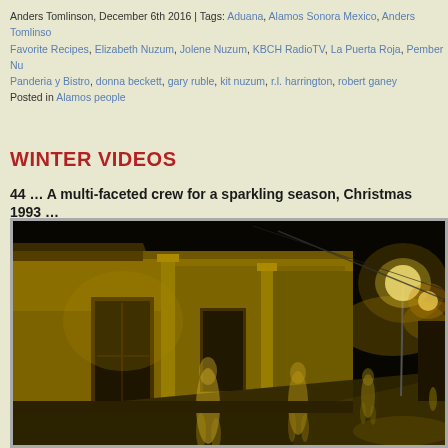Anders Tomlinson, December 6th 2016 | Tags: Aduana, Alamos Sonora Mexico, Anders Tomlinson, Favorite Recipes, Elizabeth Nuzum, Jolene Nuzum, KBCH RadioTV, La Puerta Roja, Pember Nu Panderia y Bistro, donna beckett, gary ruble, kit nuzum, r.l. harrington, robert ganey
Posted in Alamos people
WINTER VIDEOS
44 … A multi-faceted crew for a sparkling season, Christmas 1993 …
[Figure (photo): Night street scene in Alamos, Sonora Mexico. A long colonial adobe building lit in golden/yellow light lines the right side of a cobblestone street. Several ghostly blurred figures of people are walking in front of the building. Street lights glow warmly in the distance. The scene is dark with a black night sky.]